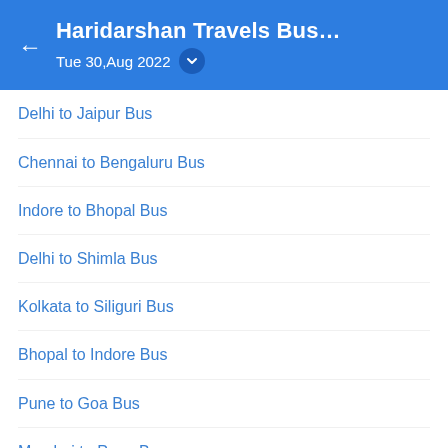Haridarshan Travels Bus... Tue 30,Aug 2022
Delhi to Jaipur Bus
Chennai to Bengaluru Bus
Indore to Bhopal Bus
Delhi to Shimla Bus
Kolkata to Siliguri Bus
Bhopal to Indore Bus
Pune to Goa Bus
Mumbai to Pune Bus
Lucknow to Delhi Bus
Chandigarh to Manali Bus
Popular Bus Cities
Goa Bus Tickets